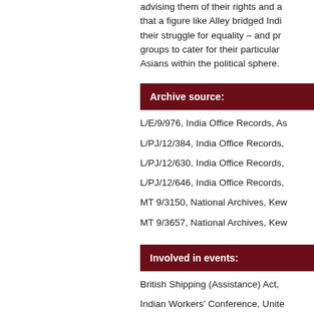advising them of their rights and a... that a figure like Alley bridged India... their struggle for equality – and pr... groups to cater for their particular n... Asians within the political sphere.
Archive source:
L/E/9/976, India Office Records, As...
L/PJ/12/384, India Office Records,...
L/PJ/12/630, India Office Records,...
L/PJ/12/646, India Office Records,...
MT 9/3150, National Archives, Kew...
MT 9/3657, National Archives, Kew...
Involved in events:
British Shipping (Assistance) Act,...
Indian Workers' Conference, Unite...